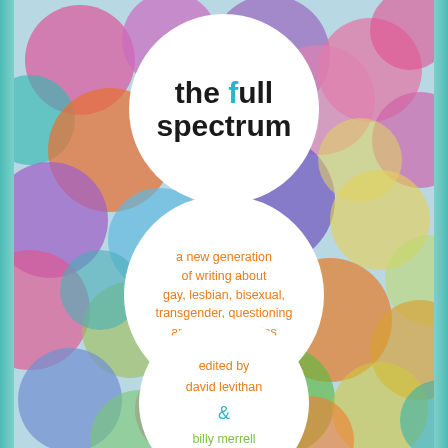[Figure (illustration): Book cover for 'The Full Spectrum' showing colorful blurred circles/dots on a light blue background, with three white circles containing the title, subtitle, and editor information]
the full spectrum
a new generation of writing about gay, lesbian, bisexual, transgender, questioning and other identities
edited by david levithan & billy merrell